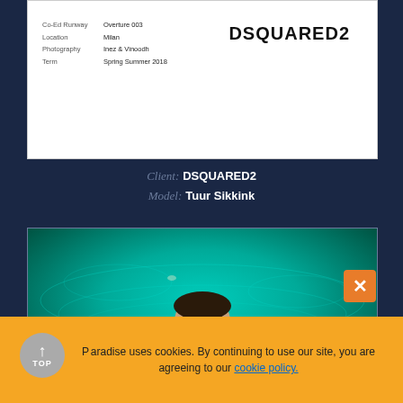[Figure (photo): Fashion shoot card with DSQUARED2 logo and metadata showing Co-Ed Runway: Overture 003, Location: Milan, Photography: Inez & Vinoodh, Term: Spring Summer 2018]
Client: DSQUARED2
Model: Tuur Sikkink
[Figure (photo): Male model submerged or standing in a swimming pool with teal/turquoise water and floating flowers, looking directly at camera]
Paradise uses cookies. By continuing to use our site, you are agreeing to our cookie policy.